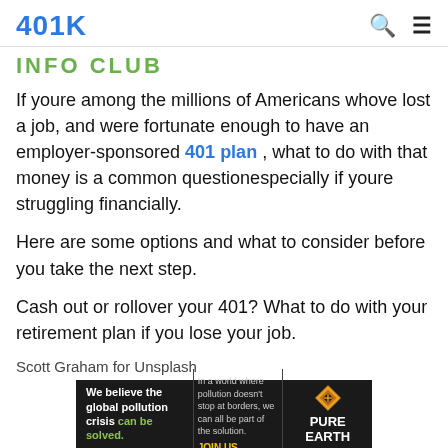401K
INFO CLUB
If youre among the millions of Americans whove lost a job, and were fortunate enough to have an employer-sponsored 401 plan , what to do with that money is a common questionespecially if youre struggling financially.
Here are some options and what to consider before you take the next step.
Cash out or rollover your 401? What to do with your retirement plan if you lose your job.
Scott Graham for Unsplash
[Figure (infographic): Advertisement banner for Pure Earth: 'We believe the global pollution crisis can be solved.' with tagline about global pollution and JOIN US. call to action, Pure Earth logo.]